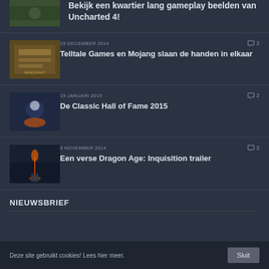Bekijk een kwartier lang gameplay beelden van Uncharted 4!
19 DECEMBER 2014 · 2 comments · Telltale Games en Mojang slaan de handen in elkaar
19 JANUARI 2015 · 2 comments · De Classic Hall of Fame 2015
9 NOVEMBER 2014 · 2 comments · Een verse Dragon Age: Inquisition trailer
NIEUWSBRIEF
Deze site gebruikt cookies! Lees hier meer.